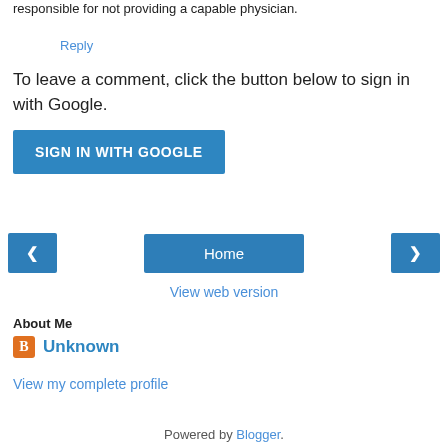responsible for not providing a capable physician.
Reply
To leave a comment, click the button below to sign in with Google.
SIGN IN WITH GOOGLE
‹   Home   ›
View web version
About Me
Unknown
View my complete profile
Powered by Blogger.